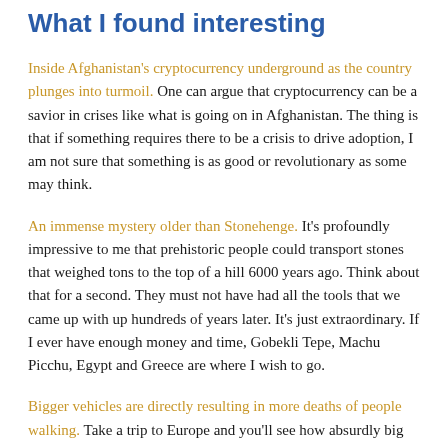What I found interesting
Inside Afghanistan's cryptocurrency underground as the country plunges into turmoil. One can argue that cryptocurrency can be a savior in crises like what is going on in Afghanistan. The thing is that if something requires there to be a crisis to drive adoption, I am not sure that something is as good or revolutionary as some may think.
An immense mystery older than Stonehenge. It's profoundly impressive to me that prehistoric people could transport stones that weighed tons to the top of a hill 6000 years ago. Think about that for a second. They must not have had all the tools that we came up with up hundreds of years later. It's just extraordinary. If I ever have enough money and time, Gobekli Tepe, Machu Picchu, Egypt and Greece are where I wish to go.
Bigger vehicles are directly resulting in more deaths of people walking. Take a trip to Europe and you'll see how absurdly big